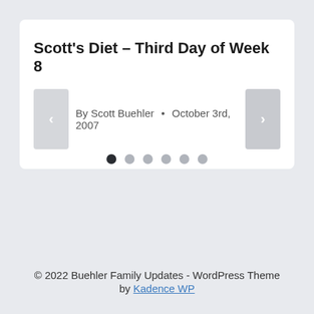Scott's Diet – Third Day of Week 8
By Scott Buehler • October 3rd, 2007
[Figure (other): Carousel navigation dots: 6 dots, first one active (dark), rest grey]
© 2022 Buehler Family Updates - WordPress Theme by Kadence WP